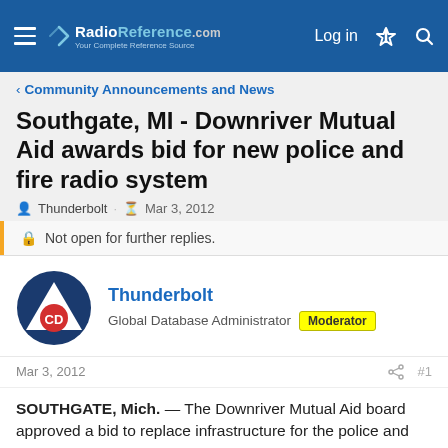RadioReference.com — Log in
Community Announcements and News
Southgate, MI - Downriver Mutual Aid awards bid for new police and fire radio system
Thunderbolt · Mar 3, 2012
Not open for further replies.
Thunderbolt
Global Database Administrator  Moderator
Mar 3, 2012  #1
SOUTHGATE, Mich. — The Downriver Mutual Aid board approved a bid to replace infrastructure for the police and fire radio system for 16 communities Thursday.
Mutual Aid awards bid for new police and fire radio system - thenewsherald.com